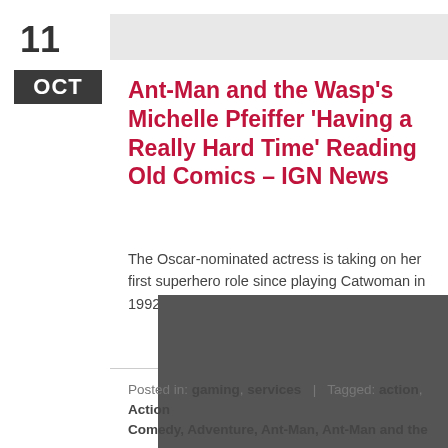11
OCT
Ant-Man and the Wasp's Michelle Pfeiffer ‘Having a Really Hard Time’ Reading Old Comics – IGN News
The Oscar-nominated actress is taking on her first superhero role since playing Catwoman in 1992’s Batman Returns.
Posted in: gaming, services   |   Tagged: action, Action Comedy, Adventure, Ant-Man, Ant-Man and the Wasp, Ant-Man and the Wasp’s Michelle Pfeiffer ‘Having a Really Hard Time’ Reading Old Comics - IGN News, Comedy, crime, feature, gaming, IGN, Marvel Entertainment, marvel studios,